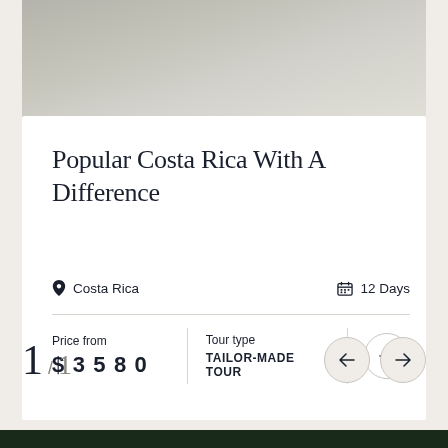[Figure (photo): Top portion of a nature/wildlife photo showing grassland or savanna scene, desaturated/muted tones]
Popular Costa Rica With A Difference
Costa Rica   12 Days
Price from $3580  Tour type TAILOR-MADE TOUR
1 / 1
[Figure (photo): Bottom dark green nature photo strip]